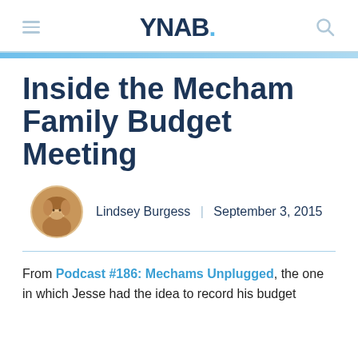YNAB.
Inside the Mecham Family Budget Meeting
Lindsey Burgess | September 3, 2015
From Podcast #186: Mechams Unplugged, the one in which Jesse had the idea to record his budget